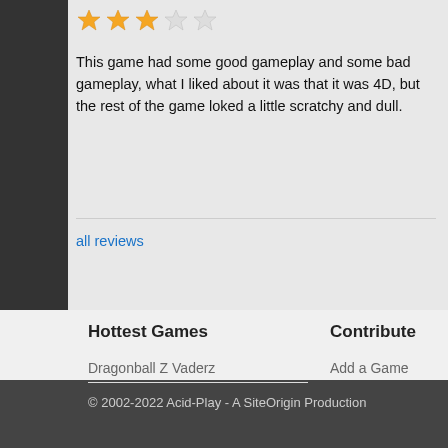[Figure (other): 3 filled orange stars and 2 empty/gray stars rating display]
This game had some good gameplay and some bad gameplay, what I liked about it was that it was 4D, but the rest of the game loked a little scratchy and dull.
all reviews
Hottest Games
Dragonball Z Vaderz
ColorBlind FIX 3
Soldat
Liero
Contribute
Add a Game
Unreviewed Games
© 2002-2022 Acid-Play - A SiteOrigin Production